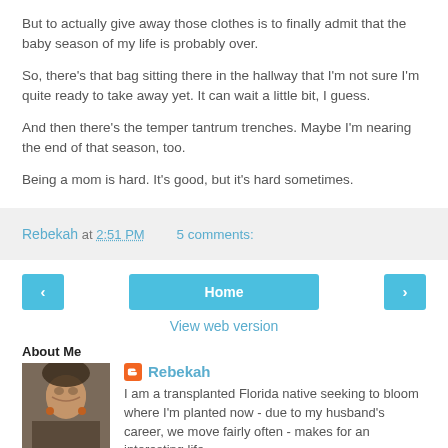But to actually give away those clothes is to finally admit that the baby season of my life is probably over.
So, there's that bag sitting there in the hallway that I'm not sure I'm quite ready to take away yet. It can wait a little bit, I guess.
And then there's the temper tantrum trenches. Maybe I'm nearing the end of that season, too.
Being a mom is hard. It's good, but it's hard sometimes.
Rebekah at 2:51 PM   5 comments:
Home
View web version
About Me
Rebekah
I am a transplanted Florida native seeking to bloom where I'm planted now - due to my husband's career, we move fairly often - makes for an interesting life.